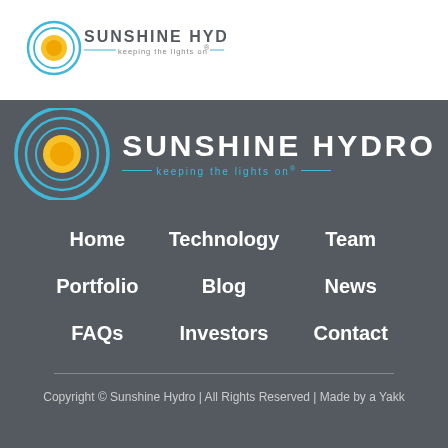[Figure (logo): Sunshine Hydro small logo with sun icon and text 'SUNSHINE HYDRO keeping the lights on®' in white header bar]
[Figure (logo): Sunshine Hydro large logo with sun icon and text 'SUNSHINE HYDRO keeping the lights on®' on dark gray background]
Home
Technology
Team
Portfolio
Blog
News
FAQs
Investors
Contact
Copyright © Sunshine Hydro | All Rights Reserved | Made by a Yakk